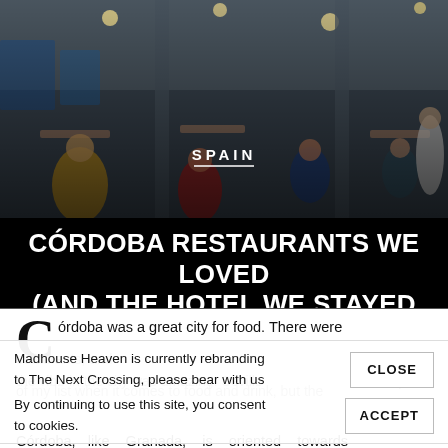[Figure (photo): Interior of a busy restaurant with people dining at tables, warm lighting, columns visible, taken at night]
SPAIN
CÓRDOBA RESTAURANTS WE LOVED (AND THE HOTEL WE STAYED AT)
Córdoba was a great city for food. There were restaurants, and the vibe in the city was amazing. Seville top of my list when it comes to food and drink, but the
Madhouse Heaven is currently rebranding to The Next Crossing, please bear with us
By continuing to use this site, you consent to cookies.
Córdoba, like Granada, is oriented towards